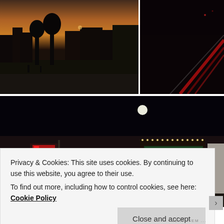[Figure (photo): Nighttime street scene at dusk with dark silhouettes of buildings and trees against an orange-purple sky]
[Figure (photo): Dark nighttime photo showing red light streaks, possibly a road or tunnel at night]
[Figure (photo): Nighttime photo of a commercial street with storefronts lit up, including a sign reading 'GLOSSY GIFTS', cars parked on street, and a full moon visible in dark sky]
Privacy & Cookies: This site uses cookies. By continuing to use this website, you agree to their use.
To find out more, including how to control cookies, see here: Cookie Policy
Close and accept